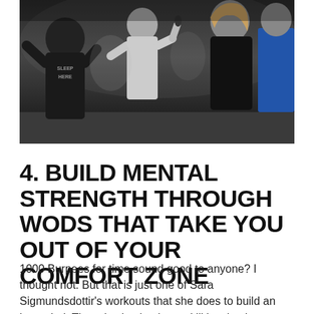[Figure (photo): A group of people at what appears to be a CrossFit or fitness competition event. Multiple athletes visible, one wearing a dark shirt with text, a woman in black top prominent on the right side, crowd and gym setting in background.]
4. BUILD MENTAL STRENGTH THROUGH WODS THAT TAKE YOU OUT OF YOUR COMFORT ZONE
1000 Burpees for time sound good to anyone? I thought not. But that is just one of Sara Sigmundsdottir's workouts that she does to build an iron mind. There is absolutely no skill involved whatsoever, no equipment needed and it is just you